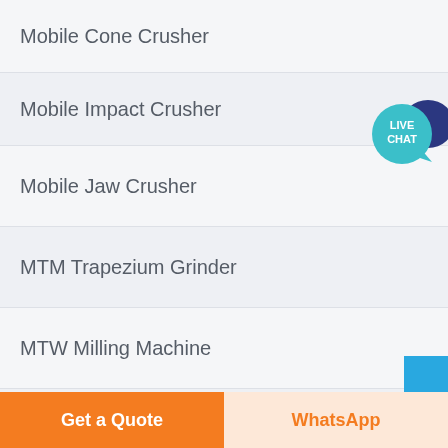Mobile Cone Crusher
Mobile Impact Crusher
Mobile Jaw Crusher
MTM Trapezium Grinder
MTW Milling Machine
PE Jaw Crusher
[Figure (other): Live Chat button with teal speech bubble and dark blue background bubble, showing LIVE CHAT text]
[Figure (other): Blue scroll/navigation button at bottom right of list]
Get a Quote
WhatsApp